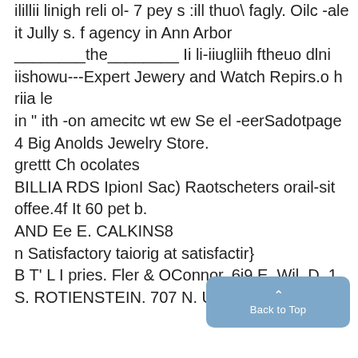ilillii linigh reli ol- 7 pey s :ill thuo\ fagly. Oilc -ale it Jully s. f agency in Ann Arbor ________the________ Ii li-iiugliih ftheuo dlni iishowu---Expert Jewery and Watch Repirs.o h riia le
in " ith -on amecitc wt ew Se el -eerSadotpage 4 Big Anolds Jewelry Store.
grettt Ch ocolates
BILLIA RDS IpionI Sac) Raotscheters orail-sit offee.4f It 60 pet b.
AND Ee E. CALKINS8
n Satisfactory taiorig at satisfactir}
B T' L I pries. Fler & OConnor. 6i9 E. Wil. D. 1
S. ROTIENSTEIN. 707 N. Univ. AA
[Figure (screenshot): Back to Top button overlay in blue-gray color at bottom right of screen]